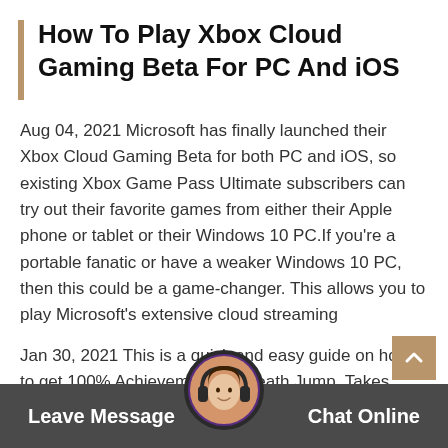How To Play Xbox Cloud Gaming Beta For PC And iOS
Aug 04, 2021 Microsoft has finally launched their Xbox Cloud Gaming Beta for both PC and iOS, so existing Xbox Game Pass Ultimate subscribers can try out their favorite games from either their Apple phone or tablet or their Windows 10 PC.If you're a portable fanatic or have a weaker Windows 10 PC, then this could be a game-changer. This allows you to play Microsoft's extensive cloud streaming
Jan 30, 2021 This is a quick and easy guide on how to get 100% Achievements in Death Jump. Takes about 45-6… minutes to fully complete … and all the achievements… not mis… Join Col… Achievement Menu: Money, Money, Money – Collect 10… Coins Pl…